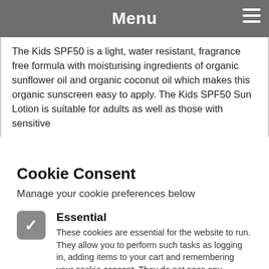Menu
The Kids SPF50 is a light, water resistant, fragrance free formula with moisturising ingredients of organic sunflower oil and organic coconut oil which makes this organic sunscreen easy to apply. The Kids SPF50 Sun Lotion is suitable for adults as well as those with sensitive
Cookie Consent
Manage your cookie preferences below
Essential
These cookies are essential for the website to run. They allow you to perform such tasks as logging in, adding items to your cart and remembering your cookie consent. They do not pass any information to third parties.
Analytics
We use third-party analytics to let us know how well our website is performing.